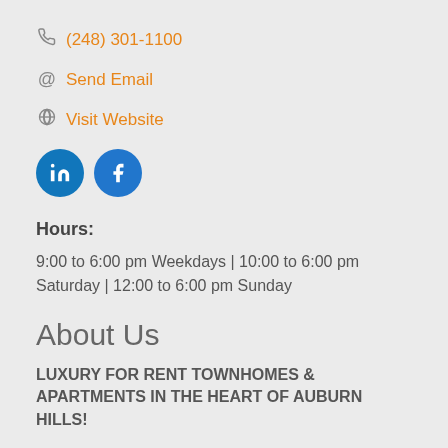(248) 301-1100
Send Email
Visit Website
[Figure (illustration): LinkedIn and Facebook social media icon buttons (blue circles with 'in' and 'f' logos)]
Hours:
9:00 to 6:00 pm Weekdays | 10:00 to 6:00 pm Saturday | 12:00 to 6:00 pm Sunday
About Us
LUXURY FOR RENT TOWNHOMES & APARTMENTS IN THE HEART OF AUBURN HILLS!
As you step into one of our Auburn Hills